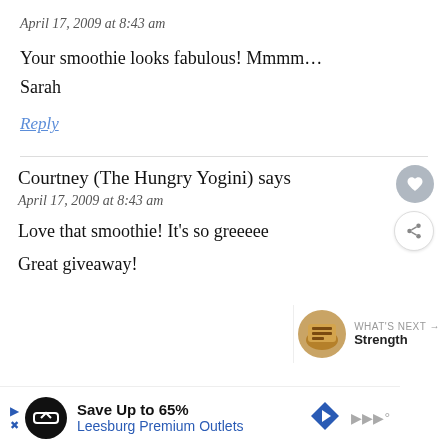April 17, 2009 at 8:43 am
Your smoothie looks fabulous! Mmmm...
Sarah
Reply
Courtney (The Hungry Yogini) says
April 17, 2009 at 8:43 am
Love that smoothie! It’s so greeeee
Great giveaway!
WHAT’S NEXT → Strength
Save Up to 65%
Leesburg Premium Outlets